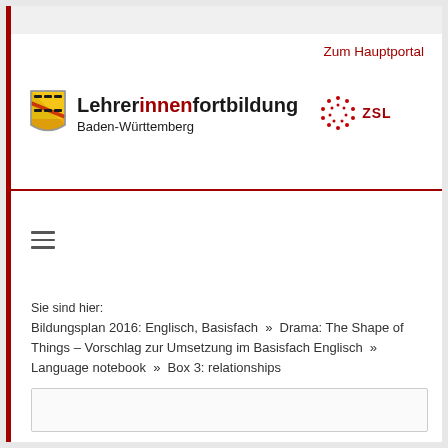Zum Hauptportal
[Figure (logo): Baden-Württemberg coat of arms with Lehrerinnenfortbildung Baden-Württemberg and ZSL logo]
≡
Sie sind hier:
Bildungsplan 2016: Englisch, Basisfach » Drama: The Shape of Things – Vorschlag zur Umsetzung im Basisfach Englisch » Language notebook » Box 3: relationships